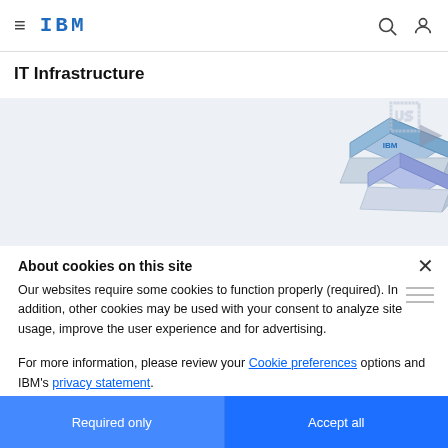IBM — IT Infrastructure
IT Infrastructure
[Figure (illustration): Hero banner with isometric illustration of IBM-branded laptops and computers on a light grey background]
About cookies on this site
Our websites require some cookies to function properly (required). In addition, other cookies may be used with your consent to analyze site usage, improve the user experience and for advertising.
For more information, please review your Cookie preferences options and IBM's privacy statement.